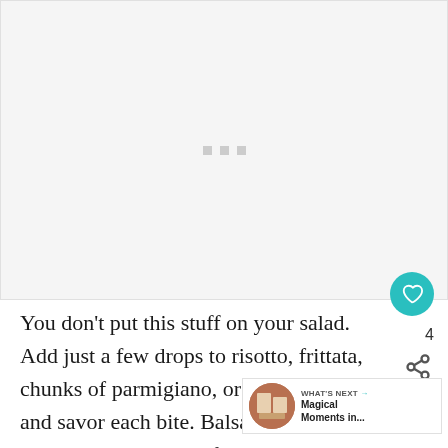[Figure (photo): Large image area showing a loading state with three small gray squares in the center, light gray background]
You don't put this stuff on your salad. Add just a few drops to risotto, frittata, chunks of parmigiano, or ev gelato — and savor each bite. Balsamico tra li like salt in that it elevates flavors exponenti every bite a borderline out-of-body experience.